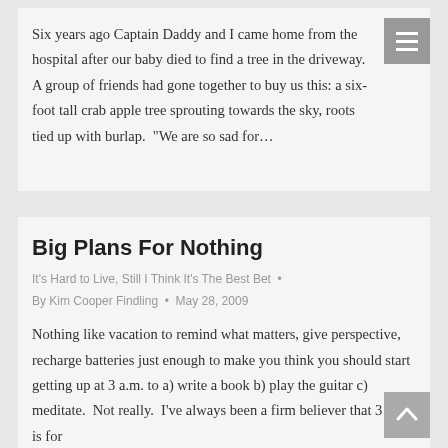Six years ago Captain Daddy and I came home from the hospital after our baby died to find a tree in the driveway. A group of friends had gone together to buy us this: a six-foot tall crab apple tree sprouting towards the sky, roots tied up with burlap.  “We are so sad for…
Big Plans For Nothing
It’s Hard to Live, Still I Think It’s The Best Bet  •  By Kim Cooper Findling • May 28, 2009
Nothing like vacation to remind what matters, give perspective, recharge batteries just enough to make you think you should start getting up at 3 a.m. to a) write a book b) play the guitar c) meditate.  Not really.  I’ve always been a firm believer that 3 a.m. is for